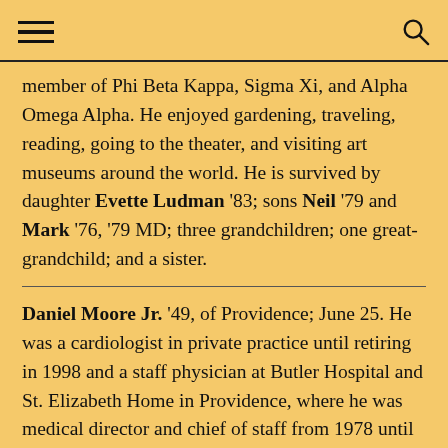Navigation header with hamburger menu and search icon
member of Phi Beta Kappa, Sigma Xi, and Alpha Omega Alpha. He enjoyed gardening, traveling, reading, going to the theater, and visiting art museums around the world. He is survived by daughter Evette Ludman '83; sons Neil '79 and Mark '76, '79 MD; three grandchildren; one great-grandchild; and a sister.
Daniel Moore Jr. '49, of Providence; June 25. He was a cardiologist in private practice until retiring in 1998 and a staff physician at Butler Hospital and St. Elizabeth Home in Providence, where he was medical director and chief of staff from 1978 until his retirement. A clinical instructor at Brown, he served as president of the Rhode Island Medical Assoc. and the Rhode Island Society of Internal Medicine and was a member of the American Medical